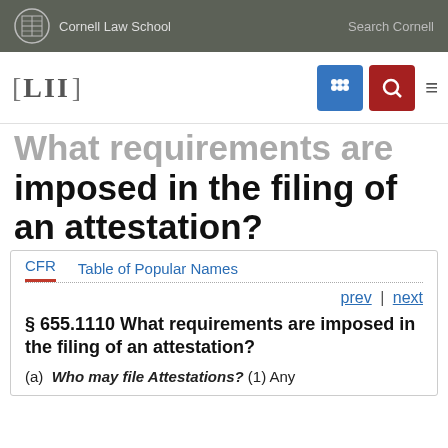Cornell Law School | Search Cornell
[Figure (logo): LII Legal Information Institute logo with navigation icons]
What requirements are imposed in the filing of an attestation?
CFR   Table of Popular Names
prev | next
§ 655.1110 What requirements are imposed in the filing of an attestation?
(a)  Who may file Attestations? (1) Any